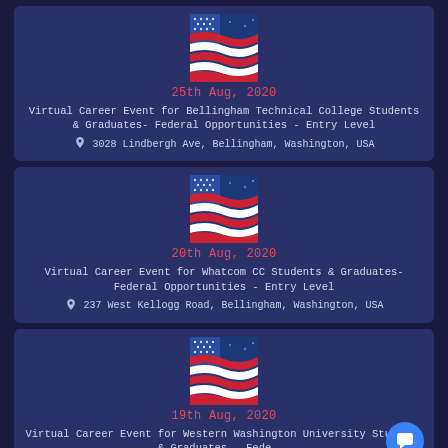[Figure (illustration): American flag illustration with blue background and red/white stripes with stars]
25th Aug, 2020
Virtual Career Event for Bellingham Technical College Students & Graduates- Federal Opportunities - Entry Level
3028 Lindbergh Ave, Bellingham, Washington, USA
[Figure (illustration): American flag illustration with blue background and red/white stripes with stars]
20th Aug, 2020
Virtual Career Event for Whatcom CC Students & Graduates- Federal Opportunities - Entry Level
237 West Kellogg Road, Bellingham, Washington, USA
[Figure (illustration): American flag illustration with blue background and red/white stripes with stars]
19th Aug, 2020
Virtual Career Event for Western Washington University Students & Graduates - Fede...